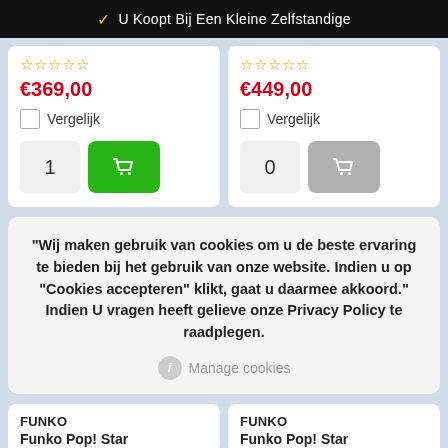U Koopt Bij Een Kleine Zelfstandige
★★★★★ €369,00 Vergelijk 1 [add to cart]
★★★★★ €449,00 Vergelijk 0 [add to cart disabled]
"Wij maken gebruik van cookies om u de beste ervaring te bieden bij het gebruik van onze website. Indien u op "Cookies accepteren" klikt, gaat u daarmee akkoord." Indien U vragen heeft gelieve onze Privacy Policy te raadplegen.
Manage cookies
FUNKO
Funko Pop! Star
FUNKO
Funko Pop! Star